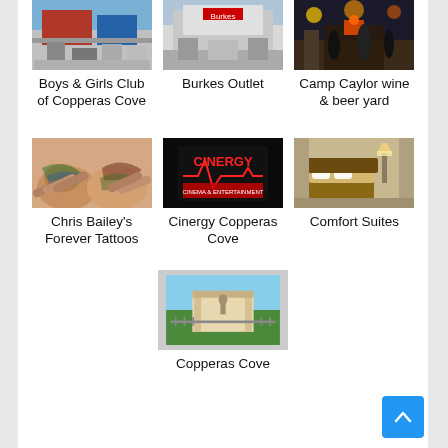[Figure (photo): Exterior photo of Boys & Girls Club of Copperas Cove building]
Boys & Girls Club of Copperas Cove
[Figure (photo): Exterior photo of Burkes Outlet store]
Burkes Outlet
[Figure (photo): Photo of Camp Caylor wine & beer yard]
Camp Caylor wine & beer yard
[Figure (photo): Photo of tattooed hands - Chris Bailey's Forever Tattoos]
Chris Bailey's Forever Tattoos
[Figure (photo): Night photo of Cinergy Copperas Cove sign with neon lights]
Cinergy Copperas Cove
[Figure (photo): Interior photo of Comfort Suites hotel room]
Comfort Suites
[Figure (photo): Photo of Copperas Cove city landmark with statue]
Copperas Cove